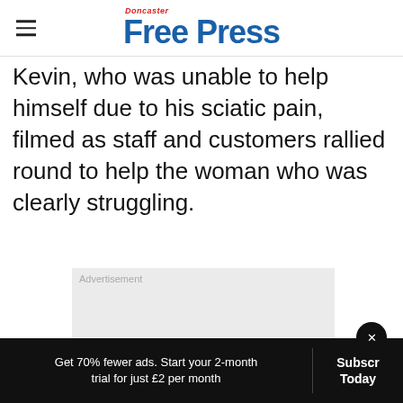Doncaster Free Press
Kevin, who was unable to help himself due to his sciatic pain, filmed as staff and customers rallied round to help the woman who was clearly struggling.
[Figure (other): Advertisement placeholder box]
Get 70% fewer ads. Start your 2-month trial for just £2 per month  Subscribe Today